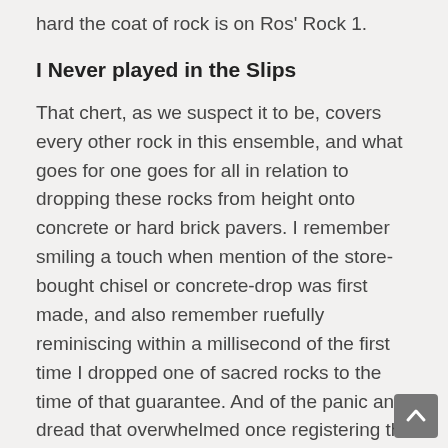hard the coat of rock is on Ros' Rock 1.
I Never played in the Slips
That chert, as we suspect it to be, covers every other rock in this ensemble, and what goes for one goes for all in relation to dropping these rocks from height onto concrete or hard brick pavers. I remember smiling a touch when mention of the store-bought chisel or concrete-drop was first made, and also remember ruefully reminiscing within a millisecond of the first time I dropped one of sacred rocks to the time of that guarantee. And of the panic and dread that overwhelmed once registering the reality of this rock laying on the garage concrete floor.
It bounced! The rock is so heavy it actually hit the concrete and momentarily ascended before receiving a second battering. It took five seconds before I mustered up the courage to bend down and survey the carnage, or